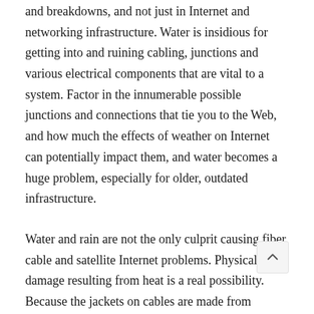and breakdowns, and not just in Internet and networking infrastructure. Water is insidious for getting into and ruining cabling, junctions and various electrical components that are vital to a system. Factor in the innumerable possible junctions and connections that tie you to the Web, and how much the effects of weather on Internet can potentially impact them, and water becomes a huge problem, especially for older, outdated infrastructure.
Water and rain are not the only culprit causing fiber, cable and satellite Internet problems. Physical damage resulting from heat is a real possibility. Because the jackets on cables are made from plastic, they can soften or expand, which dramatically increases the odds of failure or connection issues.
Likewise, with cold temperatures, the ground can harden and